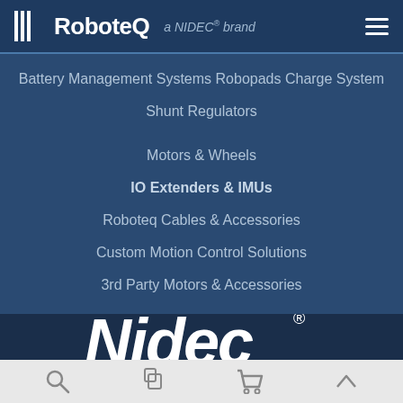RoboteQ a NIDEC® brand
Battery Management Systems Robopads Charge System
Shunt Regulators
Motors & Wheels
IO Extenders & IMUs
Roboteq Cables & Accessories
Custom Motion Control Solutions
3rd Party Motors & Accessories
[Figure (logo): Nidec logo in white italic script with registered trademark symbol on dark navy background]
Search | Account | Cart | Scroll to top icons